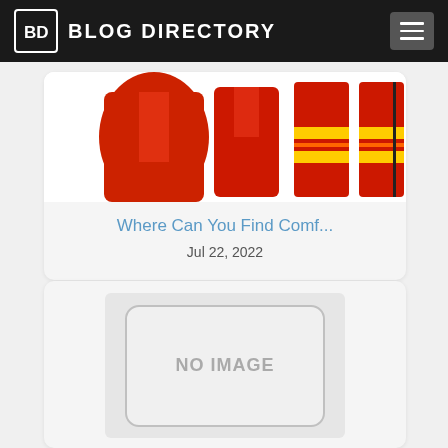BD BLOG DIRECTORY
[Figure (photo): Red safety/comfort clothing items on white background]
Where Can You Find Comf...
Jul 22, 2022
[Figure (photo): No image placeholder with rounded rectangle and NO IMAGE text]